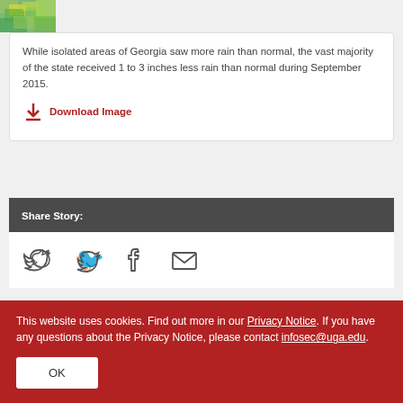[Figure (map): Partial view of a colorful Georgia rainfall map thumbnail in top-left corner]
While isolated areas of Georgia saw more rain than normal, the vast majority of the state received 1 to 3 inches less rain than normal during September 2015.
Download Image
Share Story:
[Figure (infographic): Social sharing icons: Twitter bird, Facebook F, Email envelope]
This website uses cookies. Find out more in our Privacy Notice. If you have any questions about the Privacy Notice, please contact infosec@uga.edu.
OK